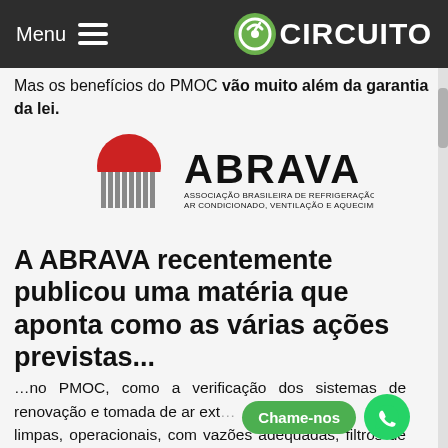Menu  ☰   CIRCUITO
Mas os benefícios do PMOC vão muito além da garantia da lei.
[Figure (logo): ABRAVA logo — Associação Brasileira de Refrigeração, Ar Condicionado, Ventilação e Aquecimento. Red semicircle over vertical bars on left, ABRAVA text on right.]
A ABRAVA recentemente publicou uma matéria que aponta como as várias ações previstas...
…no PMOC, como a verificação dos sistemas de renovação e tomada de ar ext… e …limpas, operacionais, com vazões adequadas, filtros de ar em boas condições ,bandejas limpas e com boa